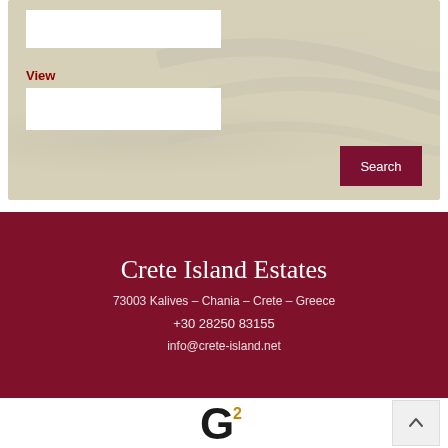[Figure (screenshot): Search panel with two input fields, a 'View' label in dark red, and a dark red Search button, on a beige/tan wavy background]
View
Search
Crete Island Estates
73003 Kalives – Chania – Crete – Greece
+30 28250 83155
info@crete-island.net
[Figure (logo): G2 logo — bold black G with a superscript 2 in orange/gold]